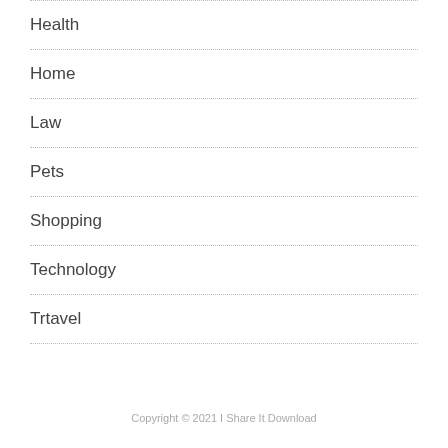Health
Home
Law
Pets
Shopping
Technology
Trtavel
Copyright © 2021 I Share It Download